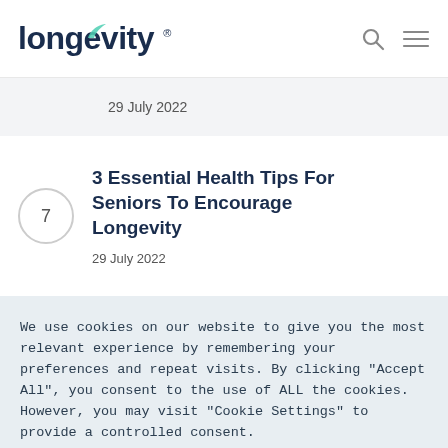[Figure (logo): Longevity website logo in dark navy text with a small teal leaf accent mark above the letter i]
29 July 2022
3 Essential Health Tips For Seniors To Encourage Longevity
29 July 2022
We use cookies on our website to give you the most relevant experience by remembering your preferences and repeat visits. By clicking "Accept All", you consent to the use of ALL the cookies. However, you may visit "Cookie Settings" to provide a controlled consent.